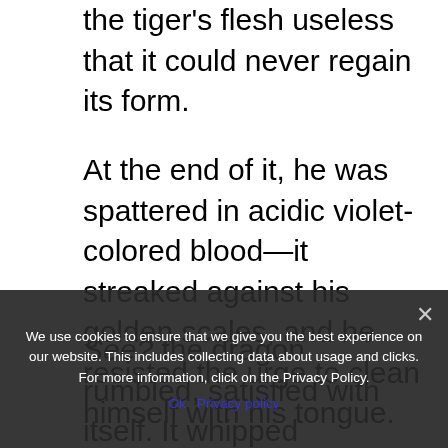the tiger's flesh useless that it could never regain its form.
At the end of it, he was spattered in acidic violet-colored blood—it streaked against his golden scales, and he resisted the urge to clean himself with his tongue.
See? the dragon rumbled, satisfied with itself. It whipped its head back, the dragon rumbled, the sound of ultimate triumph, arching its back and flexing its wings. My home, it insisted.
We use cookies to ensure that we give you the best experience on our website. This includes collecting data about usage and clicks. For more information, click on the Privacy Policy.
Ok   Privacy policy